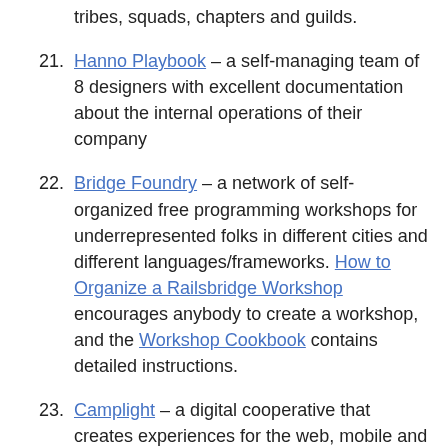tribes, squads, chapters and guilds.
Hanno Playbook – a self-managing team of 8 designers with excellent documentation about the internal operations of their company
Bridge Foundry – a network of self-organized free programming workshops for underrepresented folks in different cities and different languages/frameworks. How to Organize a Railsbridge Workshop encourages anybody to create a workshop, and the Workshop Cookbook contains detailed instructions.
Camplight – a digital cooperative that creates experiences for the web, mobile and beyond. In August 2019 they published